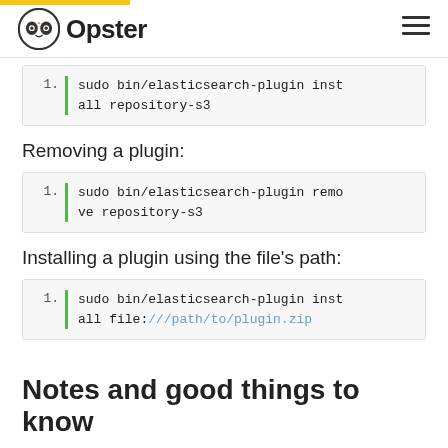Opster
sudo bin/elasticsearch-plugin install repository-s3
Removing a plugin:
sudo bin/elasticsearch-plugin remove repository-s3
Installing a plugin using the file's path:
sudo bin/elasticsearch-plugin install file:///path/to/plugin.zip
Notes and good things to know